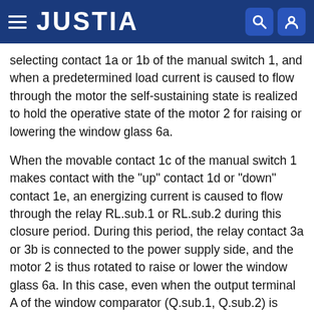JUSTIA
selecting contact 1a or 1b of the manual switch 1, and when a predetermined load current is caused to flow through the motor the self-sustaining state is realized to hold the operative state of the motor 2 for raising or lowering the window glass 6a.
When the movable contact 1c of the manual switch 1 makes contact with the "up" contact 1d or "down" contact 1e, an energizing current is caused to flow through the relay RL.sub.1 or RL.sub.2 during this closure period. During this period, the relay contact 3a or 3b is connected to the power supply side, and the motor 2 is thus rotated to raise or lower the window glass 6a. In this case, even when the output terminal A of the window comparator (Q.sub.1, Q.sub.2) is brought to the open level with the generation of the load current flowing through the motor 2, the self-sustaining state of